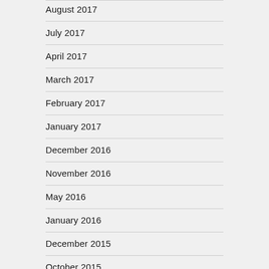August 2017
July 2017
April 2017
March 2017
February 2017
January 2017
December 2016
November 2016
May 2016
January 2016
December 2015
October 2015